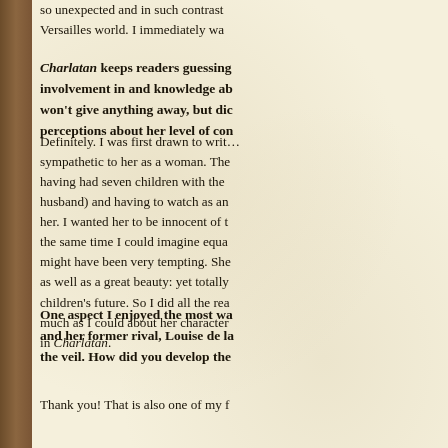so unexpected and in such contrast to Versailles world. I immediately wa…
Charlatan keeps readers guessing about involvement in and knowledge ab… won't give anything away, but di… perceptions about her level of co…
Definitely. I was first drawn to writ… sympathetic to her as a woman. The… having had seven children with the… husband) and having to watch as an… her. I wanted her to be innocent of t… the same time I could imagine equa… might have been very tempting. She… as well as a great beauty: yet totally… children's future. So I did all the rea… much as I could about her character… in Charlatan.
One aspect I enjoyed the most wa… and her former rival, Louise de la… the veil. How did you develop the…
Thank you! That is also one of my f…